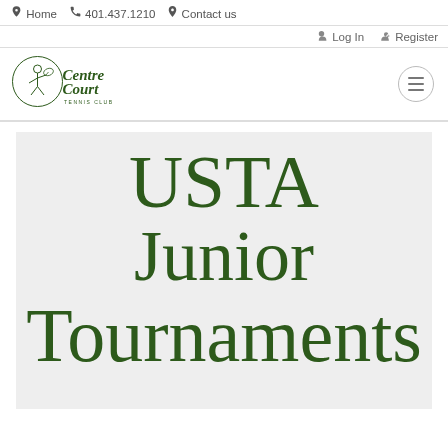🏠 Home  📞 401.437.1210  📍 Contact us
→ Log In  👤+ Register
[Figure (logo): CentreCourt Tennis Club logo — stylized script text with tennis player silhouette]
USTA Junior Tournaments